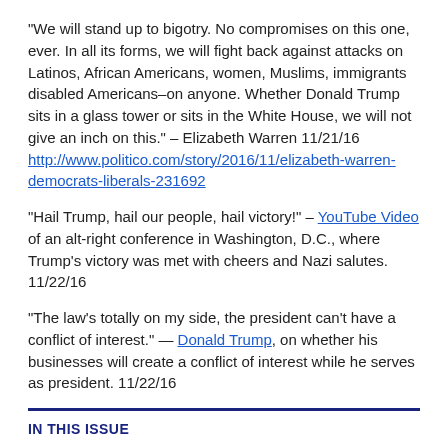"We will stand up to bigotry. No compromises on this one, ever. In all its forms, we will fight back against attacks on Latinos, African Americans, women, Muslims, immigrants disabled Americans–on anyone. Whether Donald Trump sits in a glass tower or sits in the White House, we will not give an inch on this." – Elizabeth Warren 11/21/16 http://www.politico.com/story/2016/11/elizabeth-warren-democrats-liberals-231692
"Hail Trump, hail our people, hail victory!" – YouTube Video of an alt-right conference in Washington, D.C., where Trump's victory was met with cheers and Nazi salutes. 11/22/16
"The law's totally on my side, the president can't have a conflict of interest." — Donald Trump, on whether his businesses will create a conflict of interest while he serves as president. 11/22/16
IN THIS ISSUE